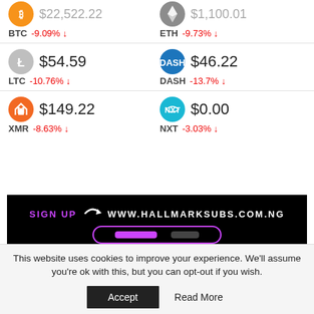BTC -9.09% ↓  ETH -9.73% ↓
LTC $54.59 -10.76% ↓  DASH $46.22 -13.7% ↓
XMR $149.22 -8.63% ↓  NXT $0.00 -3.03% ↓
[Figure (screenshot): Black advertisement banner: SIGN UP with arrow icon, WWW.HALLMARKSUBS.COM.NG, with a purple-bordered button]
This website uses cookies to improve your experience. We'll assume you're ok with this, but you can opt-out if you wish.
Accept   Read More